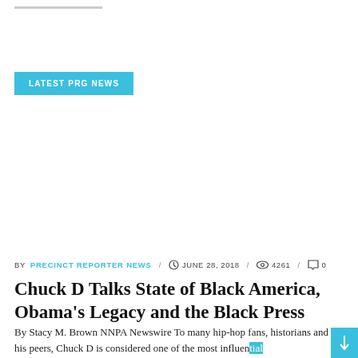LATEST PRG NEWS
BY PRECINCT REPORTER NEWS / JUNE 28, 2018 / 4261 / 0
Chuck D Talks State of Black America, Obama's Legacy and the Black Press
By Stacy M. Brown NNPA Newswire To many hip-hop fans, historians and to his peers, Chuck D is considered one of the most influential lyricists in contemporary music. In describing the Queens, New York